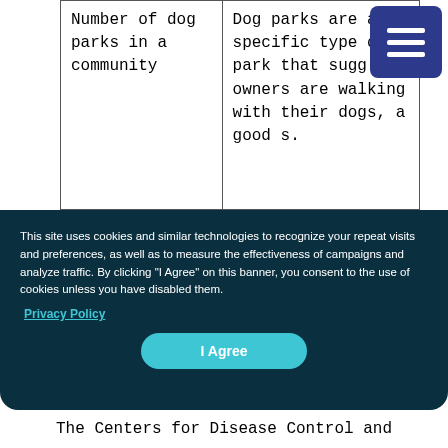| Number of dog parks in a community | Dog parks are a specific type of park that sugg dog owners are walking with their dogs, a good s. |
[Figure (other): Hamburger menu button: dark blue square with three white horizontal lines]
This site uses cookies and similar technologies to recognize your repeat visits and preferences, as well as to measure the effectiveness of campaigns and analyze traffic. By clicking "I Agree" on this banner, you consent to the use of cookies unless you have disabled them.
Privacy Policy
I Agree
The Centers for Disease Control and